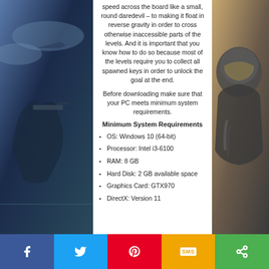speed across the board like a small, round daredevil – to making it float in reverse gravity in order to cross otherwise inaccessible parts of the levels. And it is important that you know how to do so because most of the levels require you to collect all spawned keys in order to unlock the goal at the end.
Before downloading make sure that your PC meets minimum system requirements.
Minimum System Requirements
OS: Windows 10 (64-bit)
Processor: Intel i3-6100
RAM: 8 GB
Hard Disk: 2 GB available space
Graphics Card: GTX970
DirectX: Version 11
[Figure (illustration): Background image on the left showing military/game characters with weapons against a dark blue atmospheric background]
[Figure (illustration): Background image on the right showing a close-up of a game character in armor/mask against a warm background]
Social sharing bar with Facebook, Twitter, Pinterest, SMS, and Share buttons